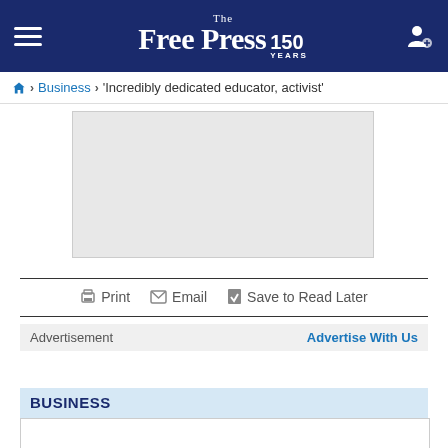The Free Press 150 Years
Home > Business > 'Incredibly dedicated educator, activist'
[Figure (photo): Article image placeholder (grey rectangle)]
Print  Email  Save to Read Later
Advertisement  Advertise With Us
BUSINESS